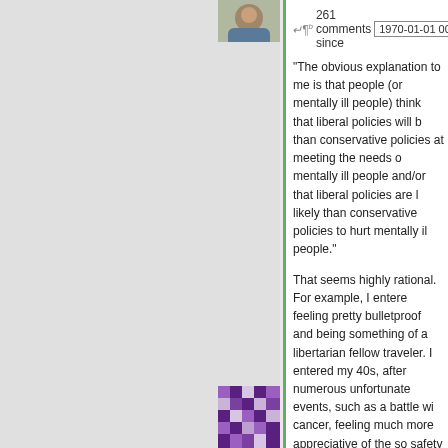[Figure (photo): User avatar - partial view of person at top]
261 comments since 1970-01-01 00:0
“The obvious explanation to me is that people (or mentally ill people) think that liberal policies will b than conservative policies at meeting the needs o mentally ill people and/or that liberal policies are l likely than conservative policies to hurt mentally il people.”
That seems highly rational. For example, I entere feeling pretty bulletproof and being something of a libertarian fellow traveler. I entered my 40s, after numerous unfortunate events, such as a battle wi cancer, feeling much more appreciative of the so safety net.
Hide 1
[Figure (illustration): User avatar - purple pixelated/mosaic pattern for viVI_IViv]
viVI_IViv says:
February 13, 2020 at 5:51 am >new<